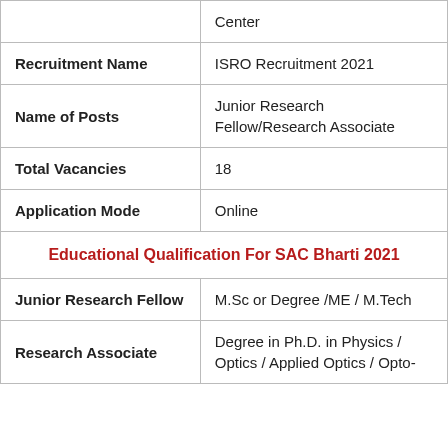|  | Center |
| Recruitment Name | ISRO Recruitment 2021 |
| Name of Posts | Junior Research Fellow/Research Associate |
| Total Vacancies | 18 |
| Application Mode | Online |
| Educational Qualification For SAC Bharti 2021 |  |
| Junior Research Fellow | M.Sc or Degree /ME / M.Tech |
| Research Associate | Degree in Ph.D. in Physics / Optics / Applied Optics / Opto- |